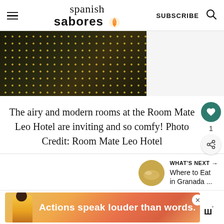spanish sabores — SUBSCRIBE
[Figure (photo): Close-up photo of a dark studded decorative object with gold/brass studs on a dark background, partially cropped]
The airy and modern rooms at the Room Mate Leo Hotel are inviting and so comfy! Photo Credit: Room Mate Leo Hotel
1
WHAT'S NEXT → Where to Eat in Granada ...
[Figure (infographic): Advertisement banner with pink/orange gradient background showing a person and text 'Actions speak louder than words.' with an M logo brand mark]